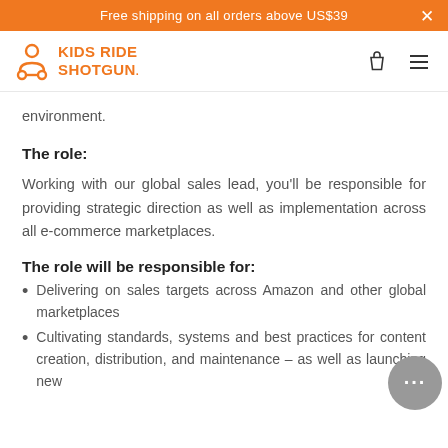Free shipping on all orders above US$39
[Figure (logo): Kids Ride Shotgun logo with orange icon and text]
environment.
The role:
Working with our global sales lead, you'll be responsible for providing strategic direction as well as implementation across all e-commerce marketplaces.
The role will be responsible for:
Delivering on sales targets across Amazon and other global marketplaces
Cultivating standards, systems and best practices for content creation, distribution, and maintenance – as well as launching new